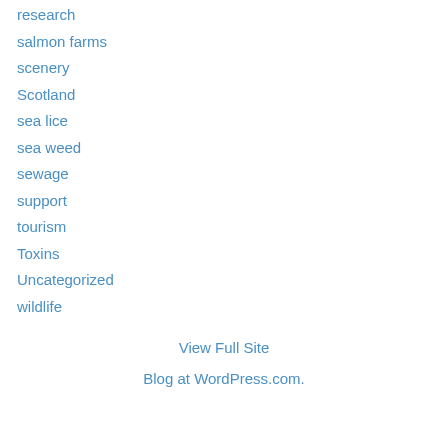research
salmon farms
scenery
Scotland
sea lice
sea weed
sewage
support
tourism
Toxins
Uncategorized
wildlife
View Full Site
Blog at WordPress.com.